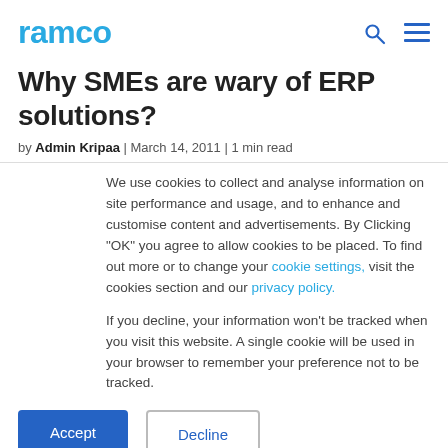ramco
Why SMEs are wary of ERP solutions?
by Admin Kripaa | March 14, 2011 | 1 min read
We use cookies to collect and analyse information on site performance and usage, and to enhance and customise content and advertisements. By Clicking "OK" you agree to allow cookies to be placed. To find out more or to change your cookie settings, visit the cookies section and our privacy policy.
If you decline, your information won't be tracked when you visit this website. A single cookie will be used in your browser to remember your preference not to be tracked.
Accept  Decline